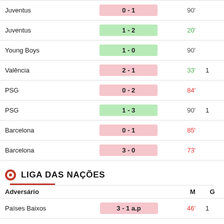| Adversário | Score | M | G |
| --- | --- | --- | --- |
| Juventus | 0 - 1 | 90' |  |
| Juventus | 1 - 2 | 20' |  |
| Young Boys | 1 - 0 | 90' |  |
| Valência | 2 - 1 | 33' | 1 |
| PSG | 0 - 2 | 84' |  |
| PSG | 1 - 3 | 90' | 1 |
| Barcelona | 0 - 1 | 85' |  |
| Barcelona | 3 - 0 | 73' |  |
LIGA DAS NAÇÕES
| Adversário |  | M | G |
| --- | --- | --- | --- |
| Países Baixos | 3 - 1 a.p | 46' | 1 |